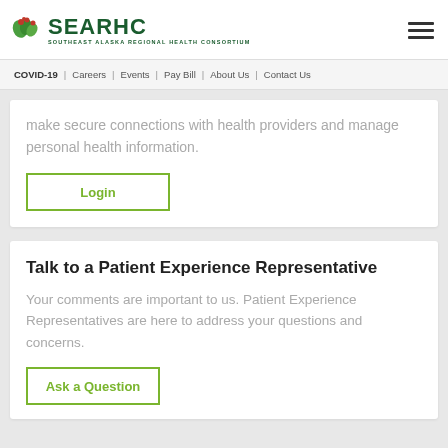SEARHC — SOUTHEAST ALASKA REGIONAL HEALTH CONSORTIUM
COVID-19 | Careers | Events | Pay Bill | About Us | Contact Us
make secure connections with health providers and manage personal health information.
Login
Talk to a Patient Experience Representative
Your comments are important to us. Patient Experience Representatives are here to address your questions and concerns.
Ask a Question